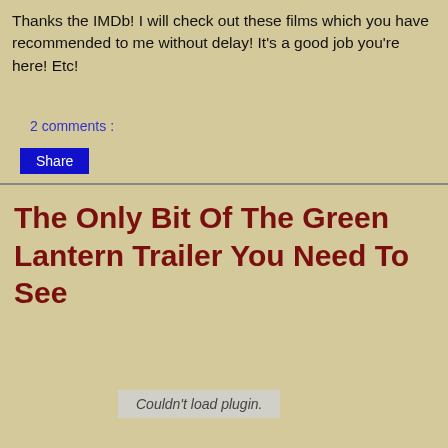Thanks the IMDb! I will check out these films which you have recommended to me without delay! It's a good job you're here! Etc!
2 comments :
Share
The Only Bit Of The Green Lantern Trailer You Need To See
Couldn't load plugin.